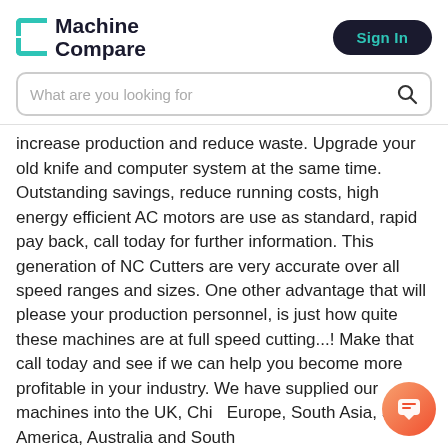Machine Compare
[Figure (screenshot): Search bar with placeholder text 'What are you looking for']
increase production and reduce waste. Upgrade your old knife and computer system at the same time. Outstanding savings, reduce running costs, high energy efficient AC motors are use as standard, rapid pay back, call today for further information. This generation of NC Cutters are very accurate over all speed ranges and sizes. One other advantage that will please your production personnel, is just how quite these machines are at full speed cutting...! Make that call today and see if we can help you become more profitable in your industry. We have supplied our machines into the UK, China, Europe, South Asia, South America, Australia and South